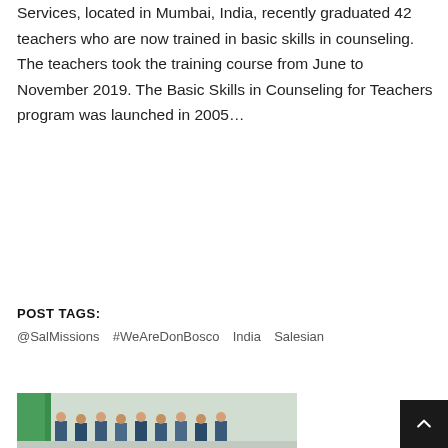Services, located in Mumbai, India, recently graduated 42 teachers who are now trained in basic skills in counseling. The teachers took the training course from June to November 2019. The Basic Skills in Counseling for Teachers program was launched in 2005...
READ MORE
POST TAGS:
@SalMissions  #WeAreDonBosco  India  Salesian
[Figure (photo): Group photo of people (students/teachers) in a room with a green banner visible]